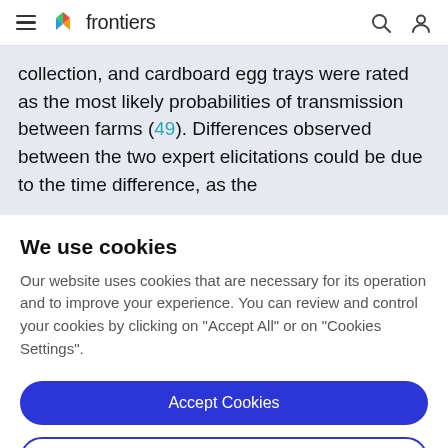frontiers
collection, and cardboard egg trays were rated as the most likely probabilities of transmission between farms (49). Differences observed between the two expert elicitations could be due to the time difference, as the
We use cookies
Our website uses cookies that are necessary for its operation and to improve your experience. You can review and control your cookies by clicking on "Accept All" or on "Cookies Settings".
Accept Cookies
Cookies Settings